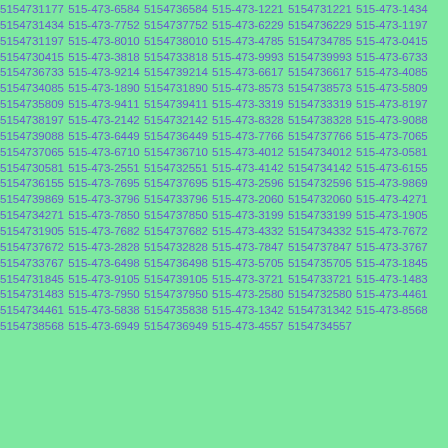5154731177 515-473-6584 5154736584 515-473-1221 5154731221 515-473-1434 5154731434 515-473-7752 5154737752 515-473-6229 5154736229 515-473-1197 5154731197 515-473-8010 5154738010 515-473-4785 5154734785 515-473-0415 5154730415 515-473-3818 5154733818 515-473-9993 5154739993 515-473-6733 5154736733 515-473-9214 5154739214 515-473-6617 5154736617 515-473-4085 5154734085 515-473-1890 5154731890 515-473-8573 5154738573 515-473-5809 5154735809 515-473-9411 5154739411 515-473-3319 5154733319 515-473-8197 5154738197 515-473-2142 5154732142 515-473-8328 5154738328 515-473-9088 5154739088 515-473-6449 5154736449 515-473-7766 5154737766 515-473-7065 5154737065 515-473-6710 5154736710 515-473-4012 5154734012 515-473-0581 5154730581 515-473-2551 5154732551 515-473-4142 5154734142 515-473-6155 5154736155 515-473-7695 5154737695 515-473-2596 5154732596 515-473-9869 5154739869 515-473-3796 5154733796 515-473-2060 5154732060 515-473-4271 5154734271 515-473-7850 5154737850 515-473-3199 5154733199 515-473-1905 5154731905 515-473-7682 5154737682 515-473-4332 5154734332 515-473-7672 5154737672 515-473-2828 5154732828 515-473-7847 5154737847 515-473-3767 5154733767 515-473-6498 5154736498 515-473-5705 5154735705 515-473-1845 5154731845 515-473-9105 5154739105 515-473-3721 5154733721 515-473-1483 5154731483 515-473-7950 5154737950 515-473-2580 5154732580 515-473-4461 5154734461 515-473-5838 5154735838 515-473-1342 5154731342 515-473-8568 5154738568 515-473-6949 5154736949 515-473-4557 5154734557